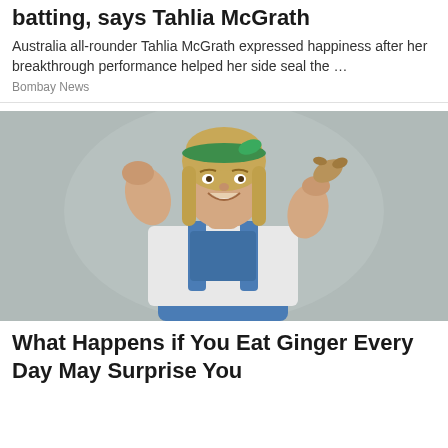batting, says Tahlia McGrath
Australia all-rounder Tahlia McGrath expressed happiness after her breakthrough performance helped her side seal the …
Bombay News
[Figure (photo): A smiling young woman with blonde hair wearing a green headband, white long-sleeve top, and blue denim overalls, holding a piece of ginger root in one hand and raising the other fist, against a light grey background.]
What Happens if You Eat Ginger Every Day May Surprise You